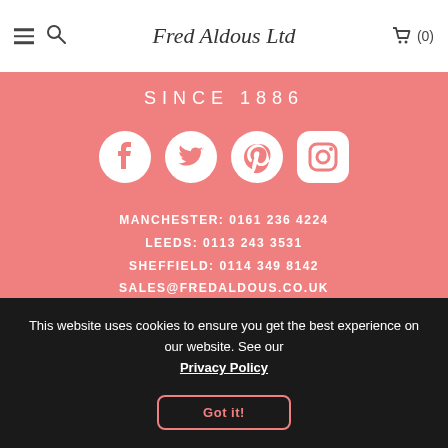Fred Aldous Ltd — navigation header with hamburger menu, search icon, logo, and cart (0)
SINCE 1886
[Figure (illustration): Four social media icons (Facebook, Twitter, Pinterest, Instagram) displayed as white circular/rounded-square icons on salmon background]
MANCHESTER: 0161 236 4224
LEEDS: 0113 243 3531
SHEFFIELD: 0114 349 8142
SALES@FREDALDOUS.CO.UK
This website uses cookies to ensure you get the best experience on our website. See our Privacy Policy
Got it!